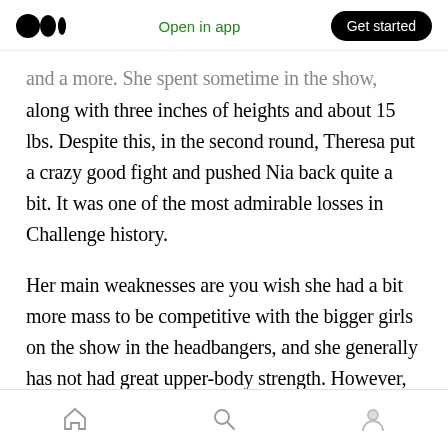Open in app | Get started
and a more. She spent sometime in the show, along with three inches of heights and about 15 lbs. Despite this, in the second round, Theresa put a crazy good fight and pushed Nia back quite a bit. It was one of the most admirable losses in Challenge history.
Her main weaknesses are you wish she had a bit more mass to be competitive with the bigger girls on the show in the headbangers, and she generally has not had great upper-body strength. However, the athlete she was on Exes 2 is elite. In her first four seasons, she was an average
Home | Search | Profile